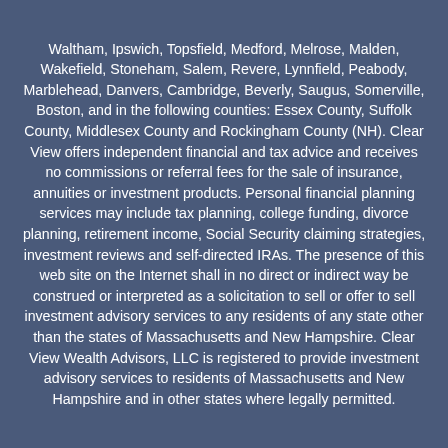Waltham, Ipswich, Topsfield, Medford, Melrose, Malden, Wakefield, Stoneham, Salem, Revere, Lynnfield, Peabody, Marblehead, Danvers, Cambridge, Beverly, Saugus, Somerville, Boston, and in the following counties: Essex County, Suffolk County, Middlesex County and Rockingham County (NH). Clear View offers independent financial and tax advice and receives no commissions or referral fees for the sale of insurance, annuities or investment products. Personal financial planning services may include tax planning, college funding, divorce planning, retirement income, Social Security claiming strategies, investment reviews and self-directed IRAs. The presence of this web site on the Internet shall in no direct or indirect way be construed or interpreted as a solicitation to sell or offer to sell investment advisory services to any residents of any state other than the states of Massachusetts and New Hampshire. Clear View Wealth Advisors, LLC is registered to provide investment advisory services to residents of Massachusetts and New Hampshire and in other states where legally permitted.